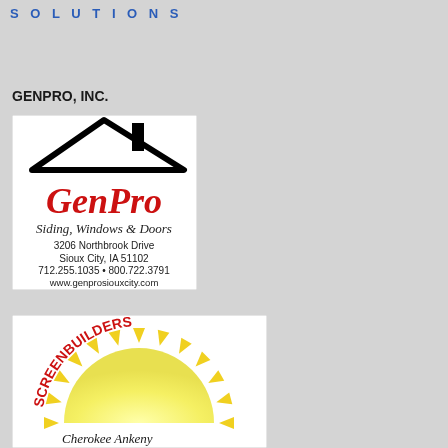SOLUTIONS
GENPRO, INC.
[Figure (logo): GenPro logo with house roofline silhouette, red cursive GenPro text, italic subtitle 'Siding, Windows & Doors', address '3206 Northbrook Drive, Sioux City, IA 51102', phone '712.255.1035 • 800.722.3791', website 'www.genprosiouxcity.com']
[Figure (logo): Screenbuilders logo with semicircular sun design, yellow triangular rays, red bold arched text 'SCREENBUILDERS', bottom text 'Cherokee  Ankeny']